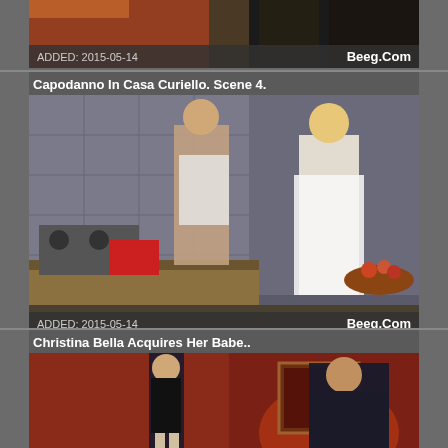[Figure (screenshot): Partial video thumbnail at top of page, showing two people in a kitchen/bedroom scene, with dark overlay bar at bottom showing date added and site name]
ADDED: 2015-05-14
Beeg.Com
Capodanno In Casa Curiello. Scene 4.
[Figure (screenshot): Video thumbnail showing two people in a kitchen scene - a man in a towel and a blonde woman in a white towel, with tiled walls and kitchen appliances visible]
ADDED: 2015-05-14
Beeg.Com
Christina Bella Acquires Her Babe..
[Figure (screenshot): Video thumbnail showing two people in a red-lit room, a woman in black lingerie and stockings and a man in a dark suit]